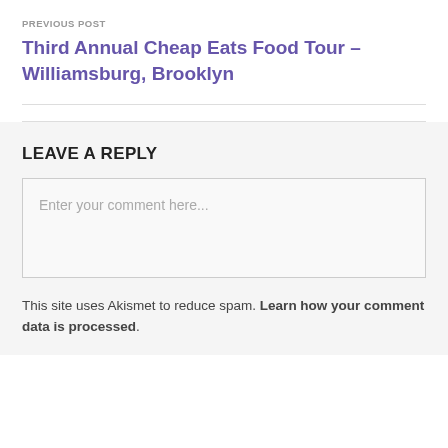PREVIOUS POST
Third Annual Cheap Eats Food Tour – Williamsburg, Brooklyn
LEAVE A REPLY
Enter your comment here...
This site uses Akismet to reduce spam. Learn how your comment data is processed.